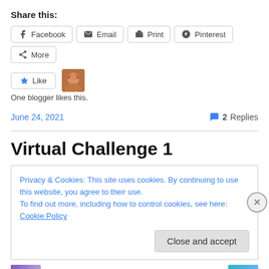Share this:
Facebook  Email  Print  Pinterest  More
[Figure (other): Like button with star icon and blogger avatar thumbnail]
One blogger likes this.
June 24, 2021    2 Replies
Virtual Challenge 1
Privacy & Cookies: This site uses cookies. By continuing to use this website, you agree to their use.
To find out more, including how to control cookies, see here: Cookie Policy
Close and accept